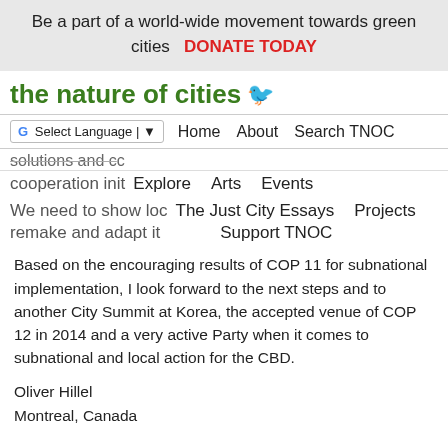Be a part of a world-wide movement towards green cities   DONATE TODAY
the nature of cities 🐦
G Select Language | ▼   Home   About   Search TNOC
solutions and co   cooperation init   Explore   Arts   Events
We need to show loc   The Just City Essays   Projects   remake and adapt it   Support TNOC
Based on the encouraging results of COP 11 for subnational implementation, I look forward to the next steps and to another City Summit at Korea, the accepted venue of COP 12 in 2014 and a very active Party when it comes to subnational and local action for the CBD.
Oliver Hillel
Montreal, Canada